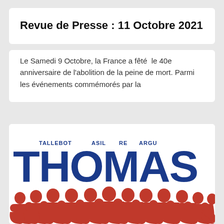Revue de Presse : 11 Octobre 2021
Le Samedi 9 Octobre, la France a fêté le 40e anniversaire de l'abolition de la peine de mort. Parmi les événements commémorés par la
[Figure (illustration): Graphic design showing the word THOMAS in large bold blue letters, with rows of red silhouette figures of people standing in front of and around the letters. Small text reading 'TALLEBOT ASIL RE ARGU' is visible above in blue.]